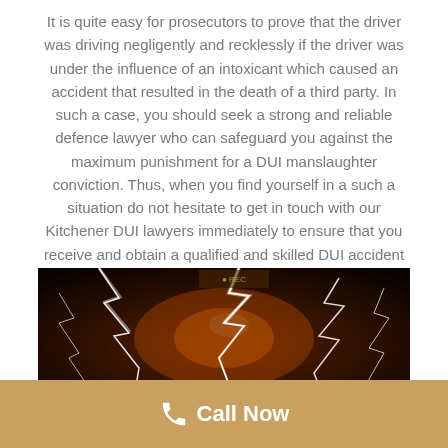It is quite easy for prosecutors to prove that the driver was driving negligently and recklessly if the driver was under the influence of an intoxicant which caused an accident that resulted in the death of a third party. In such a case, you should seek a strong and reliable defence lawyer who can safeguard you against the maximum punishment for a DUI manslaughter conviction. Thus, when you find yourself in a such a situation do not hesitate to get in touch with our Kitchener DUI lawyers immediately to ensure that you receive and obtain a qualified and skilled DUI accident defence attorney.
[Figure (photo): Dark dramatic image showing bright white lightning or light streaks against a dark orange-brown background, suggesting a nighttime road or accident scene.]
Call Now